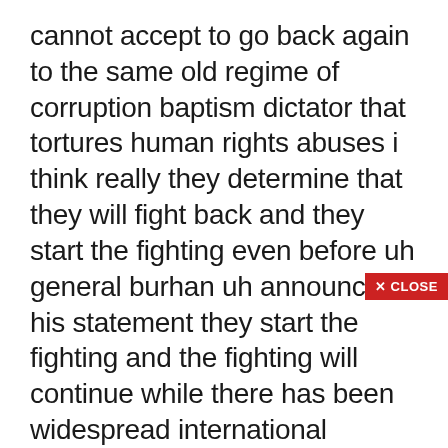cannot accept to go back again to the same old regime of corruption baptism dictator that tortures human rights abuses i think really they determine that they will fight back and they start the fighting even before uh general burhan uh announced his statement they start the fighting and the fighting will continue while there has been widespread international condemnation the u.s has suspended a 700 million dollar aid package demanding the civilian government is restored without preconditions here's national security adviser jake sullivan we have made clear that we are deeply alarm